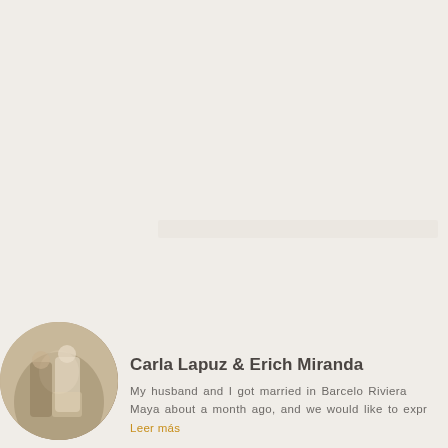[Figure (photo): Large faded/blank photo area taking up most of the page with a light beige background. A faint horizontal rectangular placeholder is visible near the center.]
[Figure (photo): Circular avatar/thumbnail photo showing a wedding couple in sepia/grayscale tones, positioned in the bottom-left area of the card.]
Carla Lapuz & Erich Miranda
My husband and I got married in Barcelo Riviera Maya about a month ago, and we would like to expr
Leer más